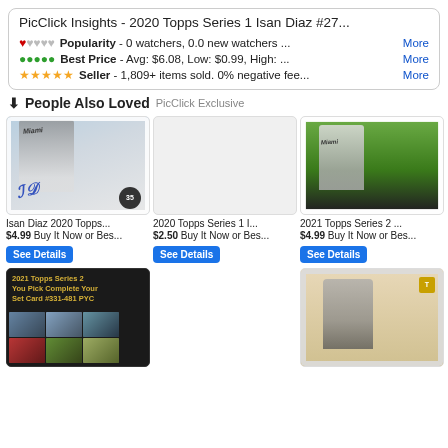PicClick Insights - 2020 Topps Series 1 Isan Diaz #27...
❤️🖤🖤🖤🖤 Popularity - 0 watchers, 0.0 new watchers ... More
🟢🟢🟢🟢🟢 Best Price - Avg: $6.08, Low: $0.99, High: ... More
⭐⭐⭐⭐⭐ Seller - 1,809+ items sold. 0% negative fee... More
⬇ People Also Loved PicClick Exclusive
[Figure (photo): Isan Diaz 2020 Topps autographed baseball card in protective case]
Isan Diaz 2020 Topps...
$4.99 Buy It Now or Bes...
[Figure (photo): 2020 Topps Series 1 baseball card (blank/placeholder)]
2020 Topps Series 1 I...
$2.50 Buy It Now or Bes...
[Figure (photo): 2021 Topps Series 2 baseball card in protective case with player in white Miami uniform]
2021 Topps Series 2 ...
$4.99 Buy It Now or Bes...
[Figure (photo): 2021 Topps Series 2 You Pick Complete Your Set Card #331-481 PYC dark card with mini card grid]
[Figure (photo): Baseball card in protective case with player running, tan/beige background]